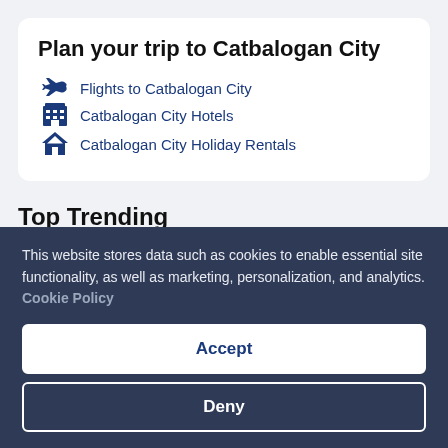Plan your trip to Catbalogan City
Flights to Catbalogan City
Catbalogan City Hotels
Catbalogan City Holiday Rentals
Top Trending
Hotels
This website stores data such as cookies to enable essential site functionality, as well as marketing, personalization, and analytics. Cookie Policy
Accept
Deny